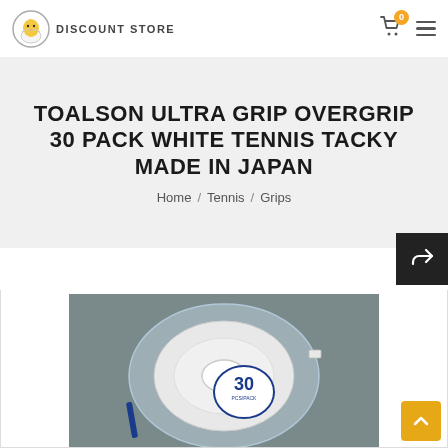DISCOUNT STORE
TOALSON ULTRA GRIP OVERGRIP 30 PACK WHITE TENNIS TACKY MADE IN JAPAN
Home / Tennis / Grips
[Figure (photo): Product photo of Toalson Ultra Grip Overgrip 30 Pack in white, shown in clear plastic packaging on a grey carpet background. The roll shows a circular label reading '30 PCS/PACK'.]